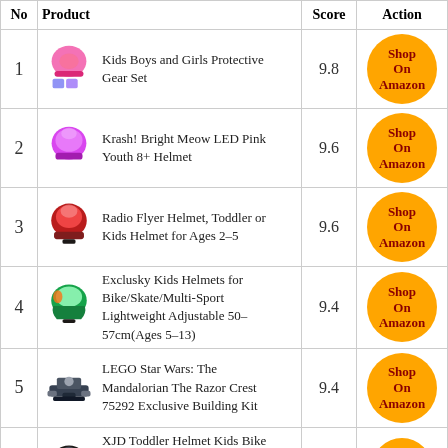| No | Product | Score | Action |
| --- | --- | --- | --- |
| 1 | Kids Boys and Girls Protective Gear Set | 9.8 | Shop On Amazon |
| 2 | Krash! Bright Meow LED Pink Youth 8+ Helmet | 9.6 | Shop On Amazon |
| 3 | Radio Flyer Helmet, Toddler or Kids Helmet for Ages 2-5 | 9.6 | Shop On Amazon |
| 4 | Exclusky Kids Helmets for Bike/Skate/Multi-Sport Lightweight Adjustable 50-57cm(Ages 5-13) | 9.4 | Shop On Amazon |
| 5 | LEGO Star Wars: The Mandalorian The Razor Crest 75292 Exclusive Building Kit | 9.4 | Shop On Amazon |
| 6 | XJD Toddler Helmet Kids Bike Helmet Multi-Sport Cycling Helmet Adjustable Bicycle Helmet for Kids Safety Helmet | 9 | Shop On |